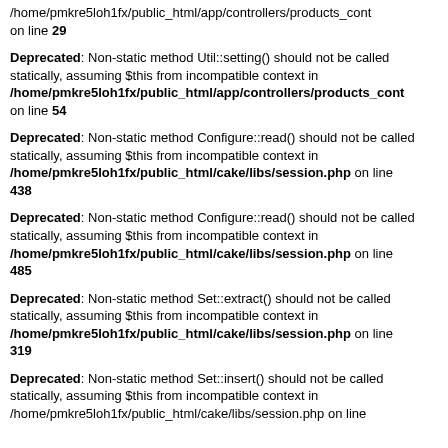/home/pmkre5loh1fx/public_html/app/controllers/products_cont on line 29
Deprecated: Non-static method Util::setting() should not be called statically, assuming $this from incompatible context in /home/pmkre5loh1fx/public_html/app/controllers/products_cont on line 54
Deprecated: Non-static method Configure::read() should not be called statically, assuming $this from incompatible context in /home/pmkre5loh1fx/public_html/cake/libs/session.php on line 438
Deprecated: Non-static method Configure::read() should not be called statically, assuming $this from incompatible context in /home/pmkre5loh1fx/public_html/cake/libs/session.php on line 485
Deprecated: Non-static method Set::extract() should not be called statically, assuming $this from incompatible context in /home/pmkre5loh1fx/public_html/cake/libs/session.php on line 319
Deprecated: Non-static method Set::insert() should not be called statically, assuming $this from incompatible context in /home/pmkre5loh1fx/public_html/cake/libs/session.php on line...